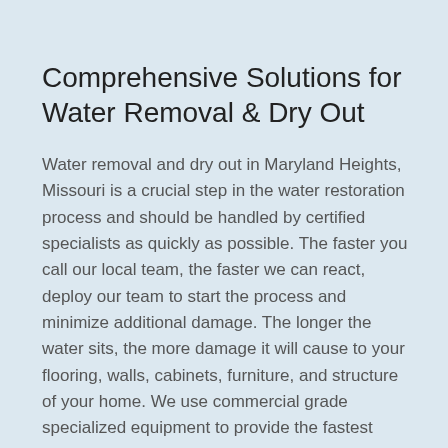Comprehensive Solutions for Water Removal & Dry Out
Water removal and dry out in Maryland Heights, Missouri is a crucial step in the water restoration process and should be handled by certified specialists as quickly as possible. The faster you call our local team, the faster we can react, deploy our team to start the process and minimize additional damage. The longer the water sits, the more damage it will cause to your flooring, walls, cabinets, furniture, and structure of your home. We use commercial grade specialized equipment to provide the fastest water restoration results possible. Our techniques and procedures have been very successful with the tools and equipment we use to remove the water and eliminate moisture in